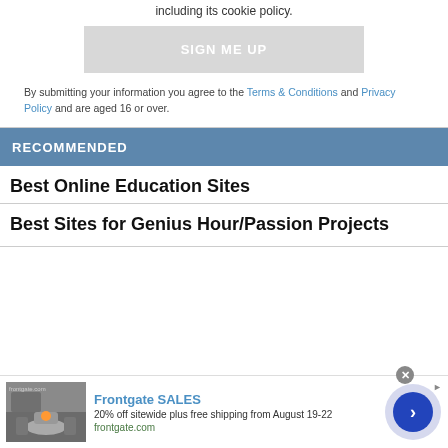including its cookie policy.
SIGN ME UP
By submitting your information you agree to the Terms & Conditions and Privacy Policy and are aged 16 or over.
RECOMMENDED
Best Online Education Sites
Best Sites for Genius Hour/Passion Projects
[Figure (infographic): Advertisement for Frontgate SALES showing outdoor furniture with fire pit image. Text: Frontgate SALES, 20% off sitewide plus free shipping from August 19-22, frontgate.com]